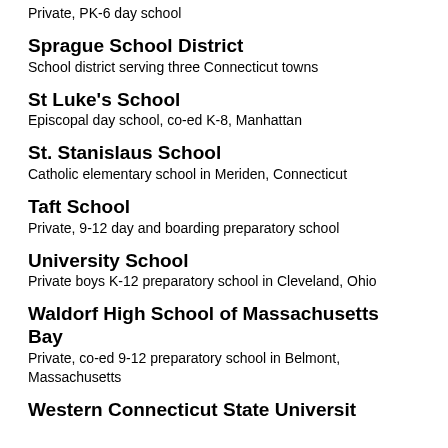Private, PK-6 day school
Sprague School District
School district serving three Connecticut towns
St Luke's School
Episcopal day school, co-ed K-8, Manhattan
St. Stanislaus School
Catholic elementary school in Meriden, Connecticut
Taft School
Private, 9-12 day and boarding preparatory school
University School
Private boys K-12 preparatory school in Cleveland, Ohio
Waldorf High School of Massachusetts Bay
Private, co-ed 9-12 preparatory school in Belmont, Massachusetts
Western Connecticut State University